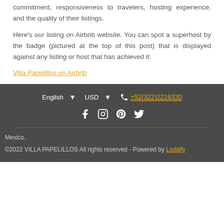commitment, responsiveness to travelers, hosting experience, and the quality of their listings.
Here's our listing on Airbnb website. You can spot a superhost by the badge (pictured at the top of this post) that is displayed against any listing or host that has achieved it:
Villa Papelillos on Airbnb
English USD +52(322)2216330 Facebook Instagram Pinterest Twitter Mexico. ©2022 VILLA PAPELILLOS All rights reserved - Powered by Lodgify